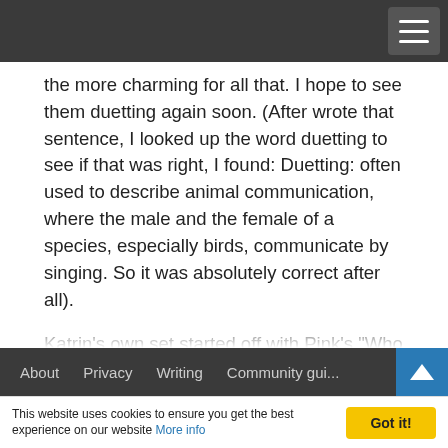[navigation bar with hamburger menu]
the more charming for all that. I hope to see them duetting again soon. (After wrote that sentence, I looked up the word duetting to see if that was right, I found: Duetting: often used to describe animal communication, where the male and the female of a species, especially birds, communicate by singing. So it was absolutely correct after all).
Katrin's own set started off with Pink's "Who Knew?" After a brief sojourn into Britney Spears territory for "Toxic", she sang a song I suspect is not on most people's radar. The throbbing beat of Pumped up Kick's "Foster The People" was strangely hypnotic, however why don't songwriters occasionally bring in the resolve at the end of a song rather than just
About   Privacy   Writing   Community gui...